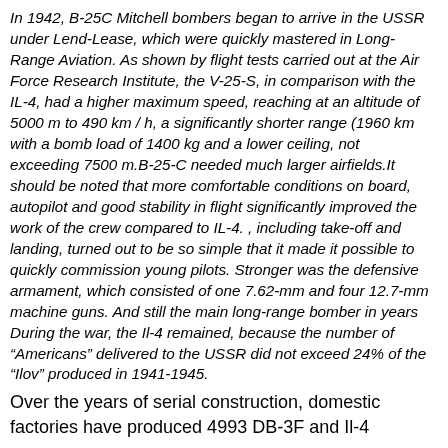In 1942, B-25C Mitchell bombers began to arrive in the USSR under Lend-Lease, which were quickly mastered in Long-Range Aviation. As shown by flight tests carried out at the Air Force Research Institute, the V-25-S, in comparison with the IL-4, had a higher maximum speed, reaching at an altitude of 5000 m to 490 km / h, a significantly shorter range (1960 km with a bomb load of 1400 kg and a lower ceiling, not exceeding 7500 m.B-25-C needed much larger airfields.It should be noted that more comfortable conditions on board, autopilot and good stability in flight significantly improved the work of the crew compared to IL-4. , including take-off and landing, turned out to be so simple that it made it possible to quickly commission young pilots. Stronger was the defensive armament, which consisted of one 7.62-mm and four 12.7-mm machine guns. And still the main long-range bomber in years During the war, the Il-4 remained, because the number of "Americans" delivered to the USSR did not exceed 24% of the "Ilov" produced in 1941-1945.
Over the years of serial construction, domestic factories have produced 4993 DB-3F and Il-4